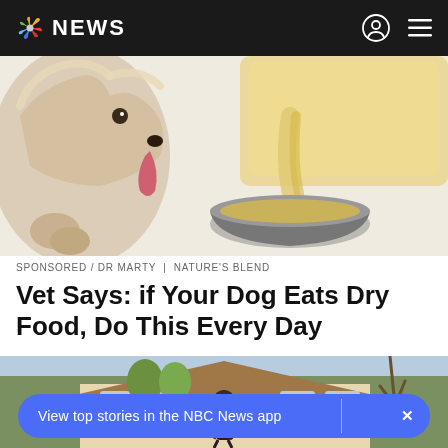NBC NEWS
[Figure (illustration): Illustration of a fluffy dog with tongue out, liquid being poured into a metal bowl]
SPONSORED / DR MARTY | NATURE'S BLEND
Vet Says: if Your Dog Eats Dry Food, Do This Every Day
[Figure (photo): Photo of a woman standing in front of a large house with trees]
View top stories in the NBC News app